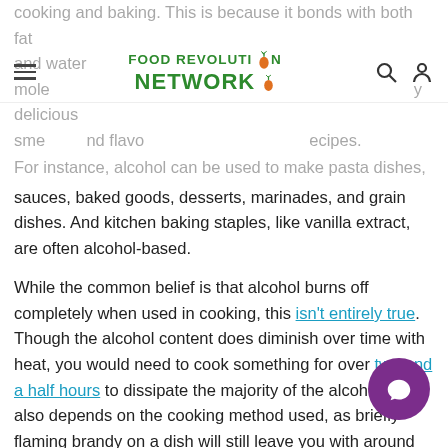FOOD REVOLUTION NETWORK
cooking and baking. This is because it bonds with both fat and water molecules, and can carry delicious smells and flavors from ingredients into recipes.
For instance, alcohol can be used to make pasta dishes, sauces, baked goods, desserts, marinades, and grain dishes. And kitchen baking staples, like vanilla extract, are often alcohol-based.
While the common belief is that alcohol burns off completely when used in cooking, this isn't entirely true. Though the alcohol content does diminish over time with heat, you would need to cook something for over two and a half hours to dissipate the majority of the alcohol. It also depends on the cooking method used, as briefly flaming brandy on a dish will still leave you with around 75% of the original alcohol content. If you're concerned about alcohol remnants in your food at a restaurant, be sure to ask your waiter if a dish contains alcohol.